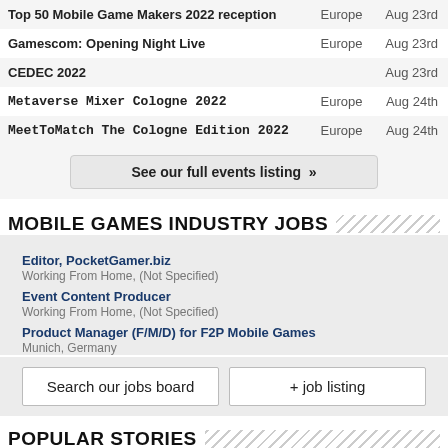| Event | Region | Date |
| --- | --- | --- |
| Top 50 Mobile Game Makers 2022 reception | Europe | Aug 23rd |
| Gamescom: Opening Night Live | Europe | Aug 23rd |
| CEDEC 2022 |  | Aug 23rd |
| Metaverse Mixer Cologne 2022 | Europe | Aug 24th |
| MeetToMatch The Cologne Edition 2022 | Europe | Aug 24th |
See our full events listing »
MOBILE GAMES INDUSTRY JOBS
Editor, PocketGamer.biz
Working From Home, (Not Specified)
Event Content Producer
Working From Home, (Not Specified)
Product Manager (F/M/D) for F2P Mobile Games
Munich, Germany
Search our jobs board
+ job listing
POPULAR STORIES